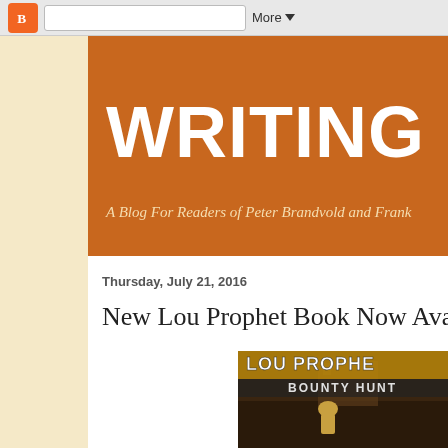[Figure (screenshot): Blogger browser toolbar with orange Blogger icon, search bar, and More dropdown button]
WRITING FO
A Blog For Readers of Peter Brandvold and Frank
Thursday, July 21, 2016
New Lou Prophet Book Now Available
[Figure (photo): Book cover of Lou Prophet Bounty Hunter showing a western action scene with text LOU PROPHET BOUNTY HUNT]